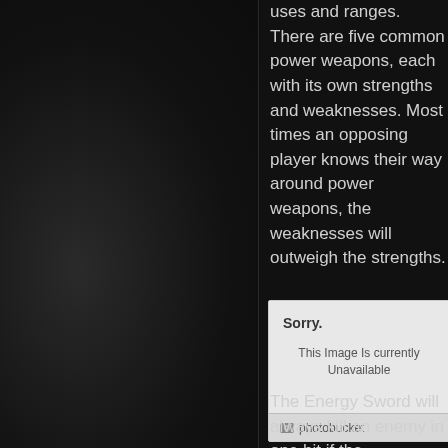uses and ranges. There are five common power weapons, each with its own strengths and weaknesses. Most times an opposing player knows their way around power weapons, the weaknesses will outweigh the strengths.
[Figure (screenshot): Photobucket image placeholder showing 'Sorry. This Image Is currently Unavailable' with photobucket branding bar at the bottom]
The Energy Sword will always kill an enemy in one hit if the